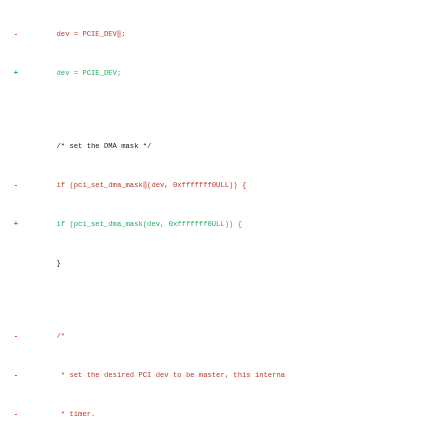[Figure (screenshot): A code diff showing changes to a C/Linux kernel driver file. Lines prefixed with '-' are removed (red) and lines prefixed with '+' are added (green). The diff shows changes involving PCIE_DEV assignment, pci_set_dma_mask, pci_set_master, pci_set_mwi, pci_read_config_word, PCI_COMMAND_SERR, and pci_write_config_word function calls — removing spaces between function names and their argument lists.]